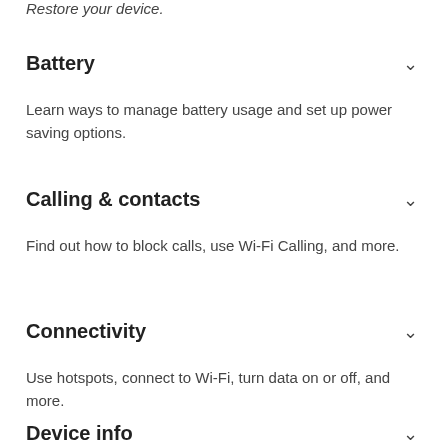Restore your device.
Battery
Learn ways to manage battery usage and set up power saving options.
Calling & contacts
Find out how to block calls, use Wi-Fi Calling, and more.
Connectivity
Use hotspots, connect to Wi-Fi, turn data on or off, and more.
Device info